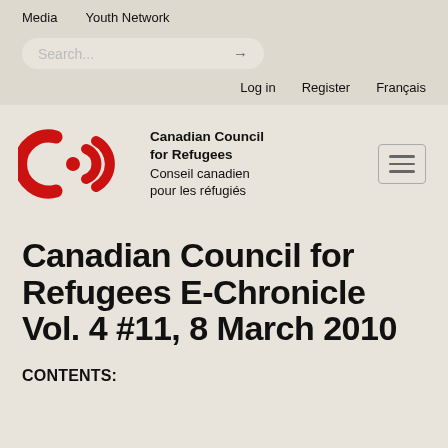Media   Youth Network
Search...  →
Log in   Register   Français
[Figure (logo): Canadian Council for Refugees logo — red CCR letters/arcs with dot — alongside bilingual name: Canadian Council for Refugees / Conseil canadien pour les réfugiés]
Canadian Council for Refugees E-Chronicle Vol. 4 #11, 8 March 2010
CONTENTS: